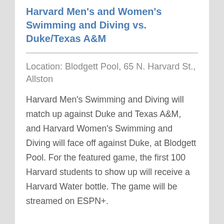Harvard Men's and Women's Swimming and Diving vs. Duke/Texas A&M
Location: Blodgett Pool, 65 N. Harvard St., Allston
Harvard Men's Swimming and Diving will match up against Duke and Texas A&M, and Harvard Women's Swimming and Diving will face off against Duke, at Blodgett Pool. For the featured game, the first 100 Harvard students to show up will receive a Harvard Water bottle. The game will be streamed on ESPN+.